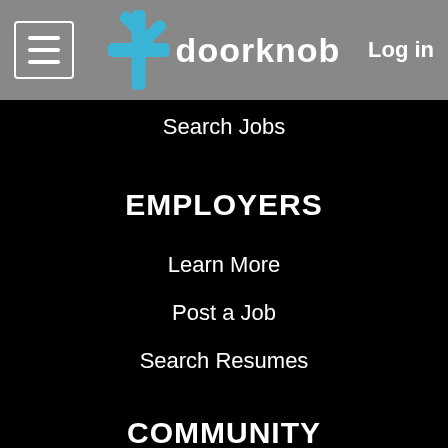doorknob — Log in
Search Jobs
EMPLOYERS
Learn More
Post a Job
Search Resumes
COMMUNITY
[Figure (illustration): Social media icons: LinkedIn, Facebook, YouTube (top row), Instagram (bottom row), all white circle outlines on black background]